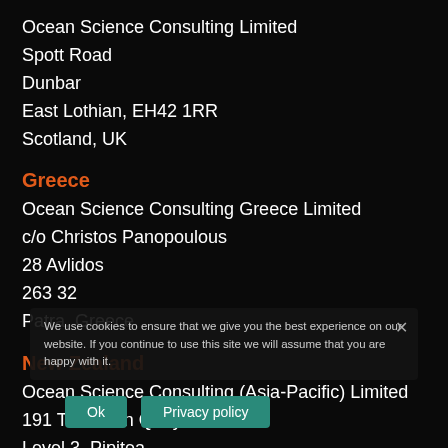Ocean Science Consulting Limited
Spott Road
Dunbar
East Lothian, EH42 1RR
Scotland, UK
Greece
Ocean Science Consulting Greece Limited
c/o Christos Panopoulous
28 Avlidos
263 32
Patra, Greece
New Zealand
Ocean Science Consulting (Asia-Pacific) Limited
191 Thorndon Quay
Level 3, Pipitea
Wellington 6011
We use cookies to ensure that we give you the best experience on our website. If you continue to use this site we will assume that you are happy with it.
Ok
Privacy policy